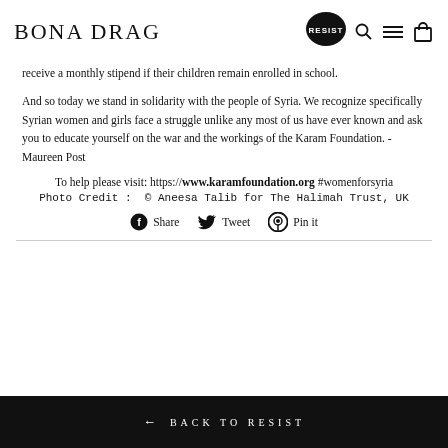BONA DRAG — RESIST (navigation bar with search, menu, and cart icons)
receive a monthly stipend if their children remain enrolled in school.
And so today we stand in solidarity with the people of Syria. We recognize specifically Syrian women and girls face a struggle unlike any most of us have ever known and ask you to educate yourself on the war and the workings of the Karam Foundation. - Maureen Post
To help please visit: https://www.karamfoundation.org #womenforsyria
Photo Credit :  © Aneesa Talib for The Halimah Trust, UK
Share   Tweet   Pin it
← BACK TO RESIST